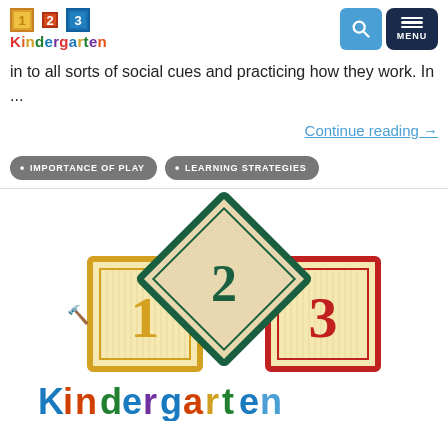123 Kindergarten
in to all sorts of social cues and practicing how they work. In ...
Continue reading →
IMPORTANCE OF PLAY
LEARNING STRATEGIES
[Figure (photo): Three wooden alphabet/number blocks spelling 1, 2, 3. The block with '1' is yellow-bordered, '2' is a diamond-shaped dark teal block, and '3' is red-bordered. Below the blocks is the colorful 'Kindergarten' logo text.]